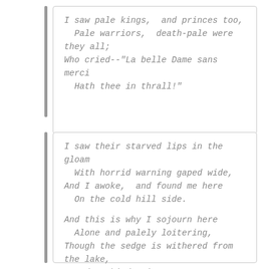I saw pale kings, and princes too,
  Pale warriors, death-pale were they all;
Who cried--"La belle Dame sans merci
  Hath thee in thrall!"
I saw their starved lips in the gloam
  With horrid warning gaped wide,
And I awoke, and found me here
  On the cold hill side.

And this is why I sojourn here
  Alone and palely loitering,
Though the sedge is withered from the lake,
  And no birds sing.